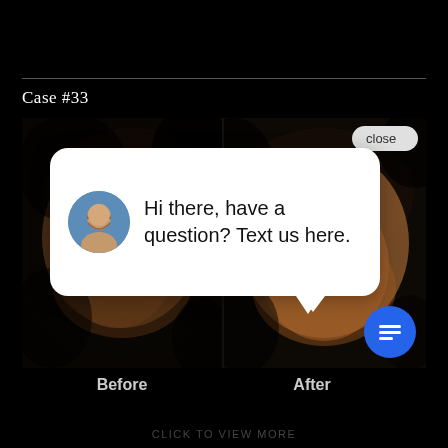Case #33
[Figure (photo): Before and after side-by-side medical photos showing breast augmentation results for Case #33, displayed against a dark background. A chat popup overlay reads: 'Hi there, have a question? Text us here.' with a female avatar and a close button. A blue chat icon appears in the lower right.]
Before
After
CLICK TO VIEW MORE